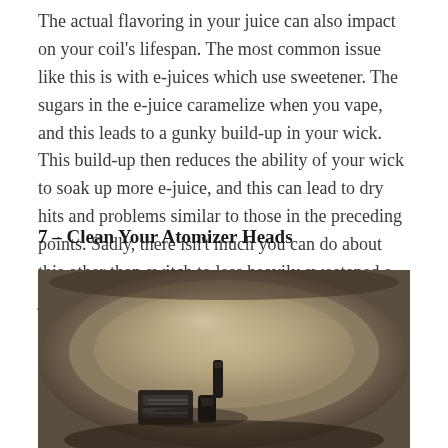The actual flavoring in your juice can also impact on your coil's lifespan. The most common issue like this is with e-juices which use sweetener. The sugars in the e-juice caramelize when you vape, and this leads to a gunky build-up in your wick. This build-up then reduces the ability of your wick to soak up more e-juice, and this can lead to dry hits and problems similar to those in the preceding points. Sadly, there isn't much you can do about this other than switch to less heavily sweetened e-juice blends.
7 – Clean Your Atomizer Heads
[Figure (photo): Overhead view of atomizer heads/coils soaking in a metal bowl with liquid, shown from above. Dark coil components are visible at the bottom of the bowl.]